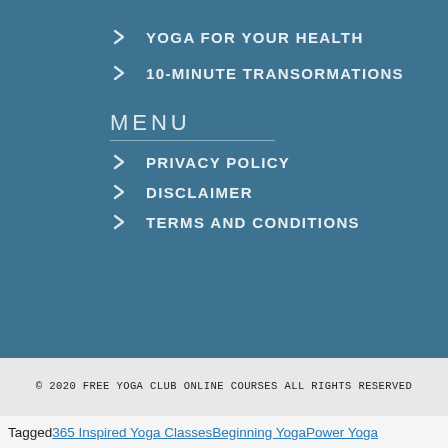> YOGA FOR YOUR HEALTH
> 10-MINUTE TRANSORMATIONS
MENU
> PRIVACY POLICY
> DISCLAIMER
> TERMS AND CONDITIONS
© 2020 FREE YOGA CLUB ONLINE COURSES ALL RIGHTS RESERVED
Tagged 365 Inspired Yoga ClassesBeginning YogaPower Yoga